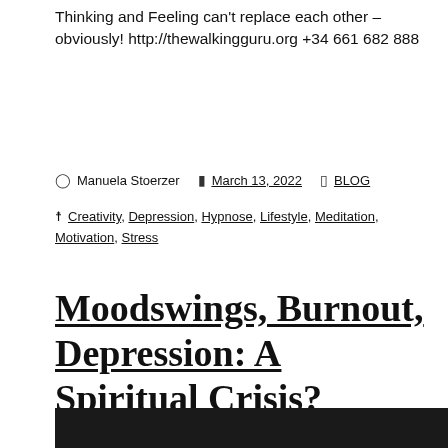Thinking and Feeling can't replace each other – obviously! http://thewalkingguru.org +34 661 682 888
Manuela Stoerzer   March 13, 2022   BLOG
Creativity, Depression, Hypnose, Lifestyle, Meditation, Motivation, Stress
Moodswings, Burnout, Depression: A Spiritual Crisis?
[Figure (photo): Dark/black image strip at the bottom of the page, appears to be the top edge of a photograph]